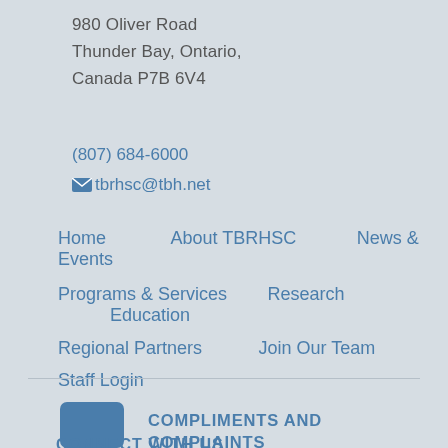980 Oliver Road
Thunder Bay, Ontario,
Canada P7B 6V4
(807) 684-6000
tbrhsc@tbh.net
Home
About TBRHSC
News & Events
Programs & Services
Research
Education
Regional Partners
Join Our Team
Staff Login
COMPLIMENTS AND COMPLAINTS
CONNECT WITH US